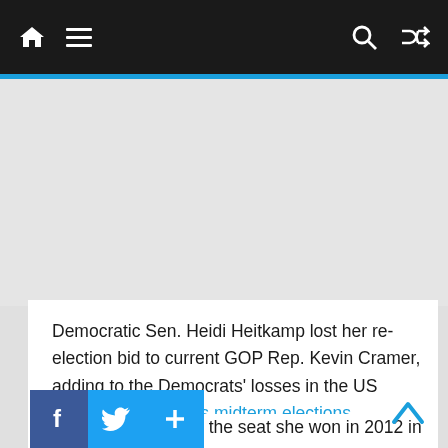Navigation bar with home, menu, search, and shuffle icons
Democratic Sen. Heidi Heitkamp lost her re-election bid to current GOP Rep. Kevin Cramer, adding to the Democrats' losses in the US Senate in Tuesday's midterm elections.
Heitkamp defended the seat she won in 2012 in